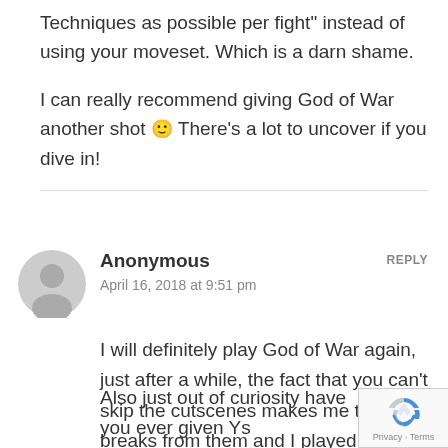Techniques as possible per fight" instead of using your moveset. Which is a darn shame.

I can really recommend giving God of War another shot 🙂 There's a lot to uncover if you dive in!
Anonymous
April 16, 2018 at 9:51 pm
I will definitely play God of War again, just after a while, the fact that you can't skip the cutscenes makes me take breaks from them and I played them a fair amount in the past 2 weeks.

Also just out of curiosity have you ever given Ys